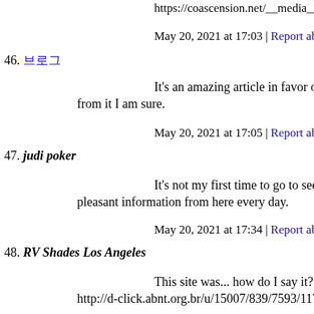https://coascension.net/__media__/js/netsoltrademark.php?d=b
May 20, 2021 at 17:03 | Report abuse | Reply
46. 블로그
It's an amazing article in favor of all the online users; they will from it I am sure.
May 20, 2021 at 17:05 | Report abuse | Reply
47. judi poker
It's not my first time to go to see this website, i am visiting this pleasant information from here every day.
May 20, 2021 at 17:34 | Report abuse | Reply
48. RV Shades Los Angeles
This site was... how do I say it? Relevant!! Finally I have foun
http://d-click.abnt.org.br/u/15007/839/7593/11704_0/4a0ff/?ur
May 20, 2021 at 18:48 | Report abuse | Reply
49. Gale Gawthorp
Have you ever heard of second life (sl for short). It is basically second life (pun intended lol). If you would like to see more y